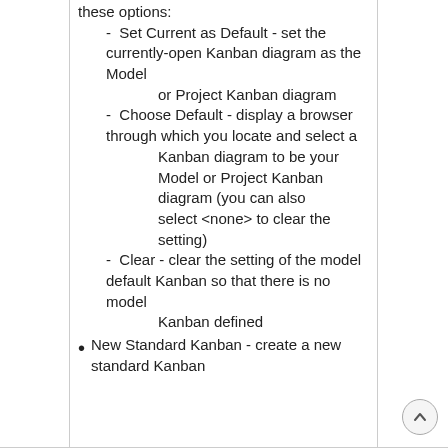these options:
  -  Set Current as Default - set the currently-open Kanban diagram as the Model
        or Project Kanban diagram
  -  Choose Default - display a browser through which you locate and select a
        Kanban diagram to be your Model or Project Kanban diagram (you can also
        select <none> to clear the setting)
  -  Clear - clear the setting of the model default Kanban so that there is no model
        Kanban defined
New Standard Kanban - create a new standard Kanban